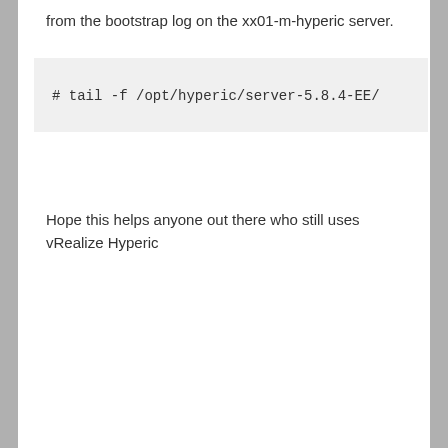from the bootstrap log on the xx01-m-hyperic server.
# tail -f /opt/hyperic/server-5.8.4-EE/
Hope this helps anyone out there who still uses vRealize Hyperic